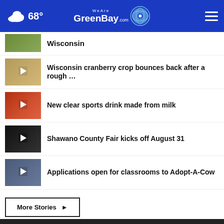68° WeAreGreenBay.com
Wisconsin
Wisconsin cranberry crop bounces back after a rough …
New clear sports drink made from milk
Shawano County Fair kicks off August 31
Applications open for classrooms to Adopt-A-Cow
More Stories ▶